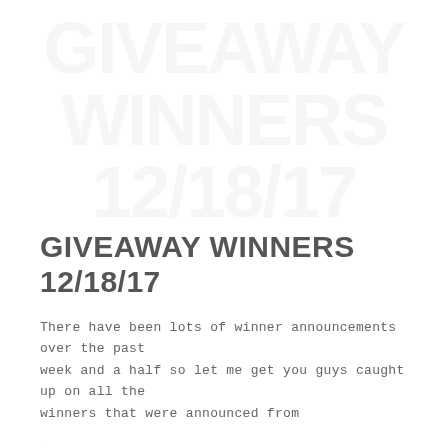[Figure (other): Faded watermark background image showing large gray text or logo in the upper portion of the page]
GIVEAWAY WINNERS 12/18/17
There have been lots of winner announcements over the past week and a half so let me get you guys caught up on all the winners that were announced from
December 18, 2017   BC   Giveaway Winners